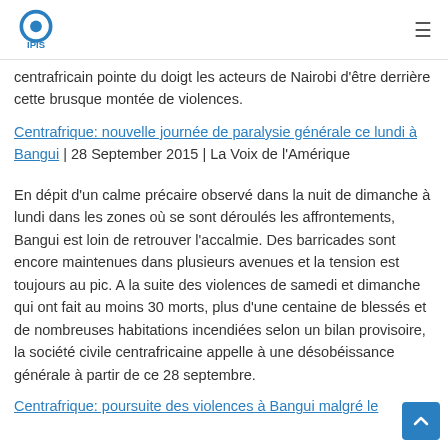IPIS
centrafricain pointe du doigt les acteurs de Nairobi d'être derrière cette brusque montée de violences.
Centrafrique: nouvelle journée de paralysie générale ce lundi à Bangui | 28 September 2015 | La Voix de l'Amérique
En dépit d'un calme précaire observé dans la nuit de dimanche à lundi dans les zones où se sont déroulés les affrontements, Bangui est loin de retrouver l'accalmie. Des barricades sont encore maintenues dans plusieurs avenues et la tension est toujours au pic. A la suite des violences de samedi et dimanche qui ont fait au moins 30 morts, plus d'une centaine de blessés et de nombreuses habitations incendiées selon un bilan provisoire, la société civile centrafricaine appelle à une désobéissance générale à partir de ce 28 septembre.
Centrafrique: poursuite des violences à Bangui malgré le